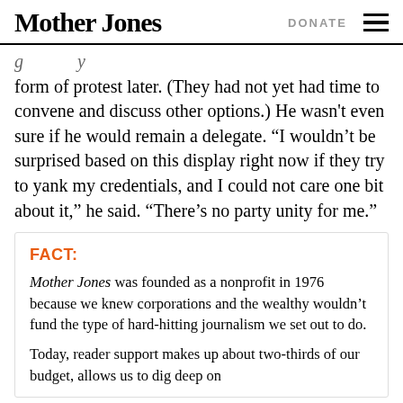Mother Jones | DONATE
…g…y… form of protest later. (They had not yet had time to convene and discuss other options.) He wasn't even sure if he would remain a delegate. “I wouldn’t be surprised based on this display right now if they try to yank my credentials, and I could not care one bit about it,” he said. “There’s no party unity for me.”
FACT:
Mother Jones was founded as a nonprofit in 1976 because we knew corporations and the wealthy wouldn’t fund the type of hard-hitting journalism we set out to do.
Today, reader support makes up about two-thirds of our budget, allows us to dig deep on